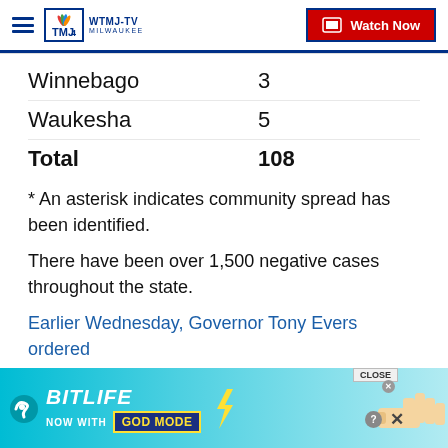WTMJ-TV MILWAUKEE | Watch Now
| County | Cases |
| --- | --- |
| Winnebago | 3 |
| Waukesha | 5 |
| Total | 108 |
* An asterisk indicates community spread has been identified.
There have been over 1,500 negative cases throughout the state.
Earlier Wednesday, Governor Tony Evers ordered
[Figure (screenshot): BitLife advertisement banner - NOW WITH GOD MODE]